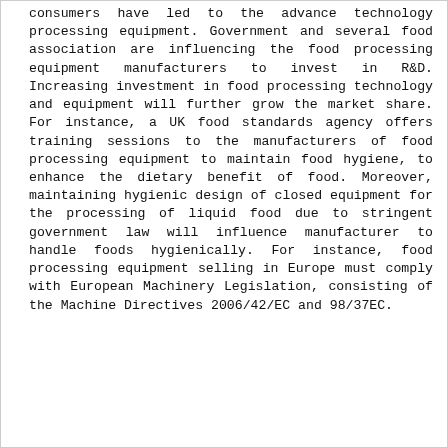consumers have led to the advance technology processing equipment. Government and several food association are influencing the food processing equipment manufacturers to invest in R&D. Increasing investment in food processing technology and equipment will further grow the market share. For instance, a UK food standards agency offers training sessions to the manufacturers of food processing equipment to maintain food hygiene, to enhance the dietary benefit of food. Moreover, maintaining hygienic design of closed equipment for the processing of liquid food due to stringent government law will influence manufacturer to handle foods hygienically. For instance, food processing equipment selling in Europe must comply with European Machinery Legislation, consisting of the Machine Directives 2006/42/EC and 98/37EC.